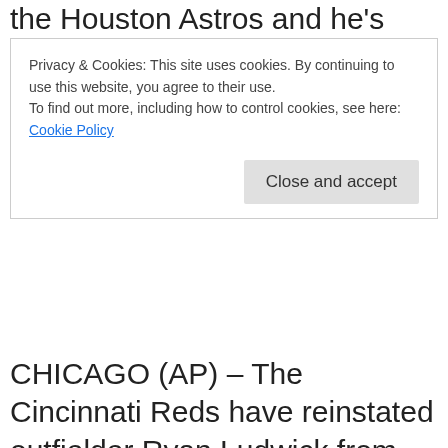the Houston Astros and he's expected to be
Privacy & Cookies: This site uses cookies. By continuing to use this website, you agree to their use.
To find out more, including how to control cookies, see here:
Cookie Policy
Close and accept
CHICAGO (AP) – The Cincinnati Reds have reinstated outfielder Ryan Ludwick from the 60-day disabled list before tonight's game against the Chicago Cubs. Ludwick has been out since opening day when he tore cartilage in his right shoulder. He had surgery and couldn't swing a bat for three months.
legislation ahead of next year's Winter Games. IOC executive board member C.K.